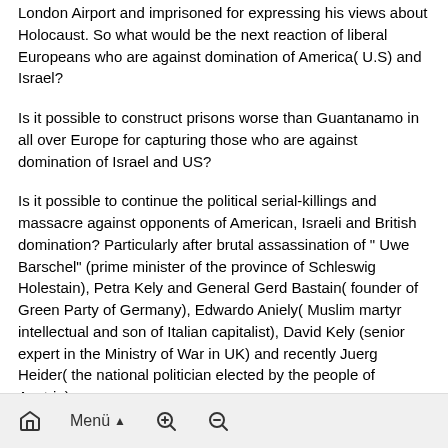London Airport and imprisoned for expressing his views about Holocaust. So what would be the next reaction of liberal Europeans who are against domination of America( U.S) and Israel?
Is it possible to construct prisons worse than Guantanamo in all over Europe for capturing those who are against domination of Israel and US?
Is it possible to continue the political serial-killings and massacre against opponents of American, Israeli and British domination? Particularly after brutal assassination of " Uwe Barschel" (prime minister of the province of Schleswig Holestain), Petra Kely and General Gerd Bastain( founder of Green Party of Germany), Edwardo Aniely( Muslim martyr intellectual and son of Italian capitalist), David Kely (senior expert in the Ministry of War in UK) and recently Juerg Heider( the national politician elected by the people of Austria).
The silence of press vis-a-vis the imprisonment of significant European scholars and intellectuals who are indeed trying to find
Menü